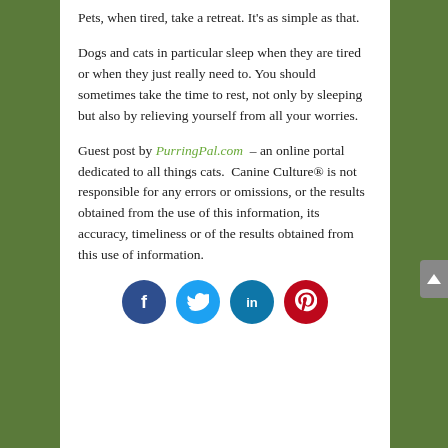Pets, when tired, take a retreat. It's as simple as that.
Dogs and cats in particular sleep when they are tired or when they just really need to. You should sometimes take the time to rest, not only by sleeping but also by relieving yourself from all your worries.
Guest post by PurringPal.com – an online portal dedicated to all things cats.  Canine Culture® is not responsible for any errors or omissions, or the results obtained from the use of this information, its accuracy, timeliness or of the results obtained from this use of information.
[Figure (other): Social media share buttons: Facebook (dark blue circle with 'f'), Twitter (light blue circle with bird icon), LinkedIn (teal circle with 'in'), Pinterest (red circle with 'p' pin icon)]